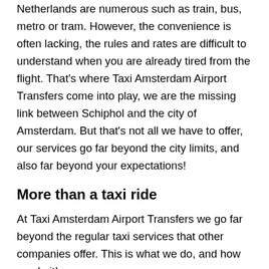Netherlands are numerous such as train, bus, metro or tram. However, the convenience is often lacking, the rules and rates are difficult to understand when you are already tired from the flight. That's where Taxi Amsterdam Airport Transfers come into play, we are the missing link between Schiphol and the city of Amsterdam. But that's not all we have to offer, our services go far beyond the city limits, and also far beyond your expectations!
More than a taxi ride
At Taxi Amsterdam Airport Transfers we go far beyond the regular taxi services that other companies offer. This is what we do, and how we do it!
Always punctual because of our text messaging service, you don't have to wait at the Airport.
We will bring you to your hotel quickly and safely